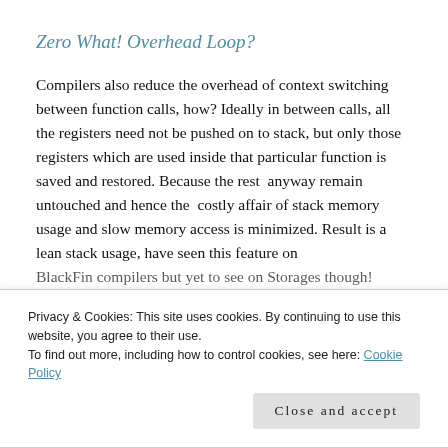Zero What! Overhead Loop?
Compilers also reduce the overhead of context switching between function calls, how? Ideally in between calls, all the registers need not be pushed on to stack, but only those registers which are used inside that particular function is saved and restored. Because the rest  anyway remain untouched and hence the  costly affair of stack memory usage and slow memory access is minimized. Result is a lean stack usage, have seen this feature on BlackFin compilers but yet to see on Storages though!
Privacy & Cookies: This site uses cookies. By continuing to use this website, you agree to their use.
To find out more, including how to control cookies, see here: Cookie Policy
Close and accept